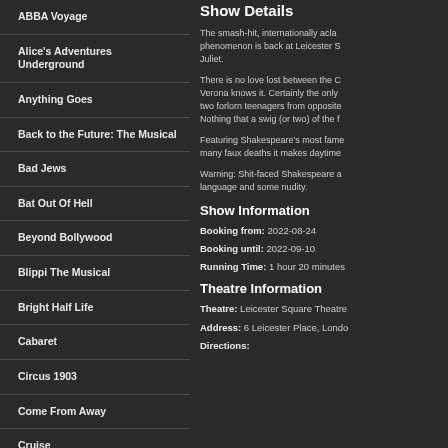ABBA Voyage
Alice's Adventures Underground
Anything Goes
Back to the Future: The Musical
Bad Jews
Bat Out Of Hell
Beyond Bollywood
Blippi The Musical
Bright Half Life
Cabaret
Circus 1903
Come From Away
Cruise
Show Details
The smash-hit, internationally acla... phenomenon is back at Leicester S... Juliet.
There is no love lost between the C... Verona knows it. Certainly the only two forlorn teenagers from opposite... Nothing that a swig (or two) of the f...
Featuring Shakespeare's most fame... many faux deaths it makes daytime...
Warning: Shit-faced Shakespeare a... language and some nudity.
Show Information
Booking from: 2022-08-24
Booking until: 2022-09-10
Running Time: 1 hour 20 minutes
Theatre Information
Theatre: Leicester Square Theatre
Address: 6 Leicester Place, Londo...
Directions: